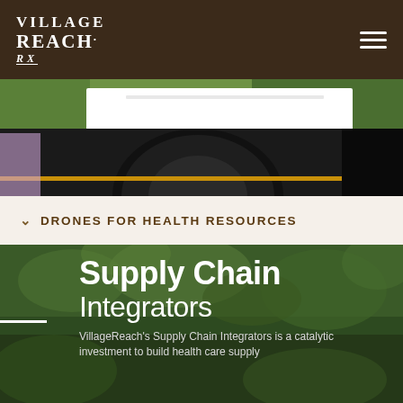[Figure (screenshot): VillageReach website screenshot showing navigation bar with logo, a vehicle wheel image, drones section link, and Supply Chain Integrators hero section]
VILLAGE REACH. Rx
[Figure (photo): Partial view of a vehicle wheel with orange stripe, green grass in background]
DRONES FOR HEALTH RESOURCES
Supply Chain Integrators
VillageReach's Supply Chain Integrators is a catalytic investment to build health care supply